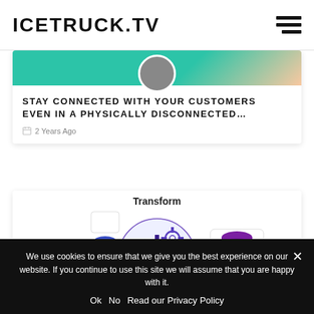ICETRUCK.TV
[Figure (illustration): Partial view of a blog post card with a teal/peach header image and a circular avatar at the bottom]
STAY CONNECTED WITH YOUR CUSTOMERS EVEN IN A PHYSICALLY DISCONNECTED...
2 Years Ago
[Figure (infographic): ETL diagram showing Extract, Transform (gear icons in a circle), and Load steps with arrows and database icons]
We use cookies to ensure that we give you the best experience on our website. If you continue to use this site we will assume that you are happy with it.
Ok   No   Read our Privacy Policy